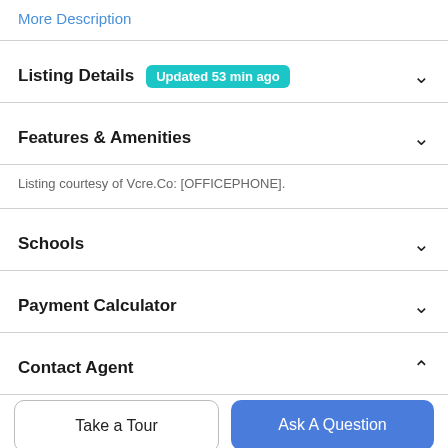More Description
Listing Details  Updated 53 min ago
Features & Amenities
Listing courtesy of Vcre.Co: [OFFICEPHONE].
Schools
Payment Calculator
Contact Agent
Take a Tour
Ask A Question